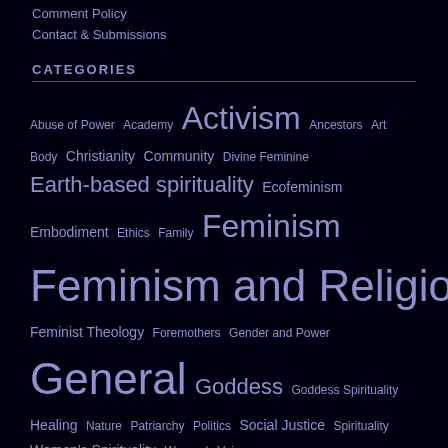Comment Policy
Contact & Submissions
CATEGORIES
Abuse of Power  Academy  Activism  Ancestors  Art  Body  Christianity  Community  Divine Feminine  Earth-based spirituality  Ecofeminism  Embodiment  Ethics  Family  Feminism  Feminism and Religion  Feminist Theology  Foremothers  Gender and Power  General  Goddess  Goddess Spirituality  Healing  Nature  Patriarchy  Politics  Social Justice  Spirituality  Women's Spirituality  Women's Voices